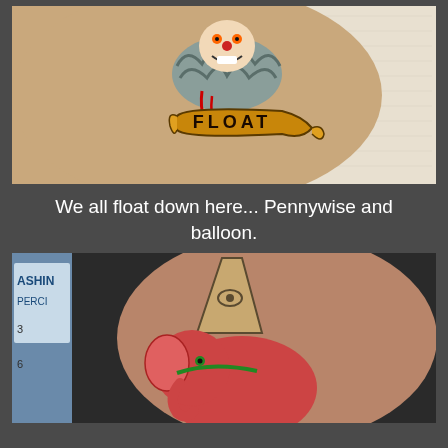[Figure (photo): A tattoo on a person's leg/calf showing Pennywise the clown character with a ruffled collar and a scroll banner reading 'FLOAT', with red drips, on skin with a white textured background.]
We all float down here... Pennywise and balloon.
[Figure (photo): A tattoo on a person's arm showing a colorful illustration of a circus elephant (pink/red) with a pointed obelisk-like structure on top, with an eye symbol, seen against a dark background. A sign partially reading 'ASHING PIERCI' is visible on the left.]